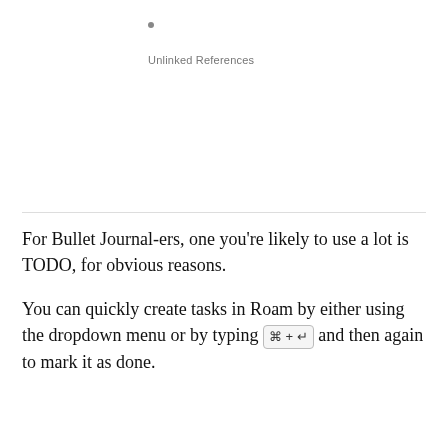•
Unlinked References
For Bullet Journal-ers, one you're likely to use a lot is TODO, for obvious reasons.
You can quickly create tasks in Roam by either using the dropdown menu or by typing ⌘ + ↵ and then again to mark it as done.